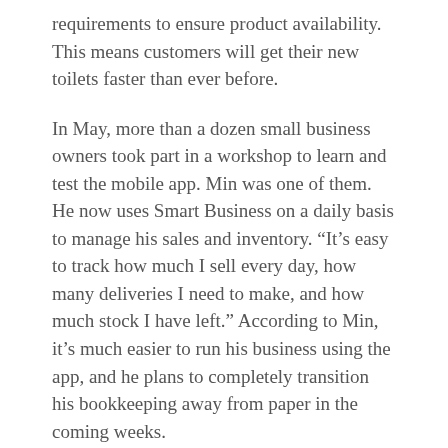requirements to ensure product availability. This means customers will get their new toilets faster than ever before.
In May, more than a dozen small business owners took part in a workshop to learn and test the mobile app. Min was one of them. He now uses Smart Business on a daily basis to manage his sales and inventory. “It’s easy to track how much I sell every day, how many deliveries I need to make, and how much stock I have left.” According to Min, it’s much easier to run his business using the app, and he plans to completely transition his bookkeeping away from paper in the coming weeks.